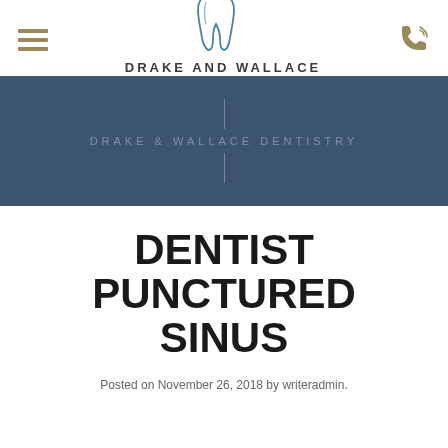[Figure (logo): Drake and Wallace Dentistry logo — tooth icon in blue outline, text DRAKE AND WALLACE DENTISTRY, hamburger menu icon in tan on left, phone icon in tan on right]
[Figure (illustration): Drake & Wallace Dentistry banner — dark steel-blue background with centered text DRAKE & WALLACE DENTISTRY flanked by vertical lines above and below]
DENTIST PUNCTURED SINUS
Posted on November 26, 2018 by writeradmin.